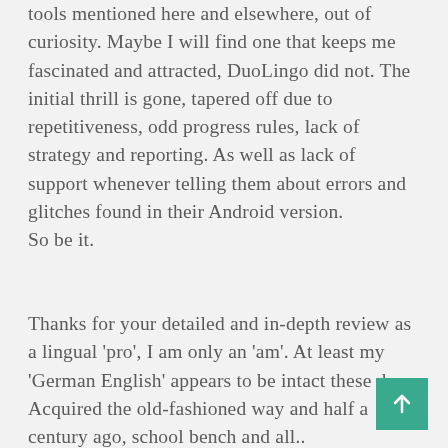tools mentioned here and elsewhere, out of curiosity. Maybe I will find one that keeps me fascinated and attracted, DuoLingo did not. The initial thrill is gone, tapered off due to repetitiveness, odd progress rules, lack of strategy and reporting. As well as lack of support whenever telling them about errors and glitches found in their Android version.
So be it.
Thanks for your detailed and in-depth review as a lingual 'pro', I am only an 'am'. At least my 'German English' appears to be intact these days. Acquired the old-fashioned way and half a century ago, school bench and all..